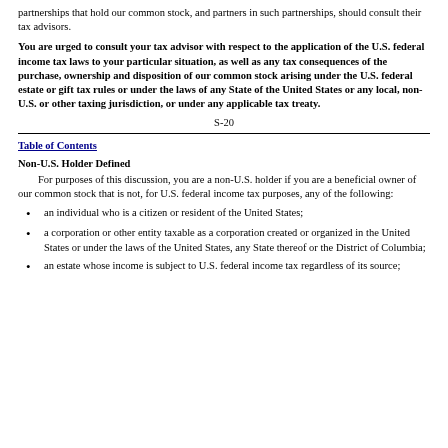partnerships that hold our common stock, and partners in such partnerships, should consult their tax advisors.
You are urged to consult your tax advisor with respect to the application of the U.S. federal income tax laws to your particular situation, as well as any tax consequences of the purchase, ownership and disposition of our common stock arising under the U.S. federal estate or gift tax rules or under the laws of any State of the United States or any local, non-U.S. or other taxing jurisdiction, or under any applicable tax treaty.
S-20
Table of Contents
Non-U.S. Holder Defined
For purposes of this discussion, you are a non-U.S. holder if you are a beneficial owner of our common stock that is not, for U.S. federal income tax purposes, any of the following:
an individual who is a citizen or resident of the United States;
a corporation or other entity taxable as a corporation created or organized in the United States or under the laws of the United States, any State thereof or the District of Columbia;
an estate whose income is subject to U.S. federal income tax regardless of its source;